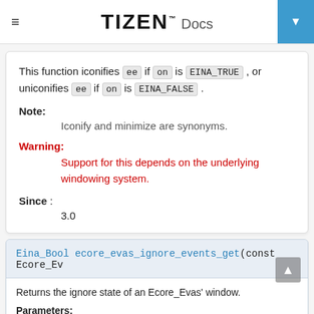TIZEN™ Docs
This function iconifies ee if on is EINA_TRUE , or uniconifies ee if on is EINA_FALSE .
Note: Iconify and minimize are synonyms.
Warning: Support for this depends on the underlying windowing system.
Since : 3.0
Eina_Bool ecore_evas_ignore_events_get(const Ecore_Ev
Returns the ignore state of an Ecore_Evas' window.
Parameters: